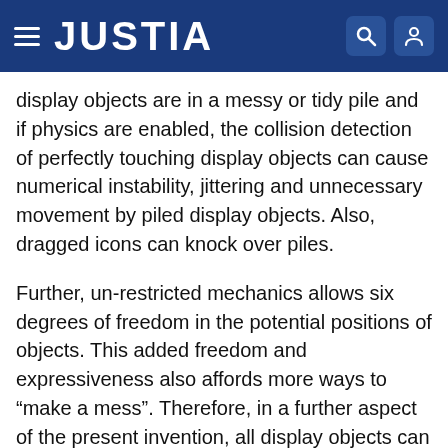JUSTIA
display objects are in a messy or tidy pile and if physics are enabled, the collision detection of perfectly touching display objects can cause numerical instability, jittering and unnecessary movement by piled display objects. Also, dragged icons can knock over piles.
Further, un-restricted mechanics allows six degrees of freedom in the potential positions of objects. This added freedom and expressiveness also affords more ways to “make a mess”. Therefore, in a further aspect of the present invention, all display objects can remain axis-aligned. Collisions are no longer physically accurate but objects are easily readable remaining properly oriented, more closely resembling modem GUI desktops. In this mode the desktop seems aesthetically tidier but looks and feels mechanical (FIG. 10). Alternatively, a small amount of off-axis rotation can be allowed to make the